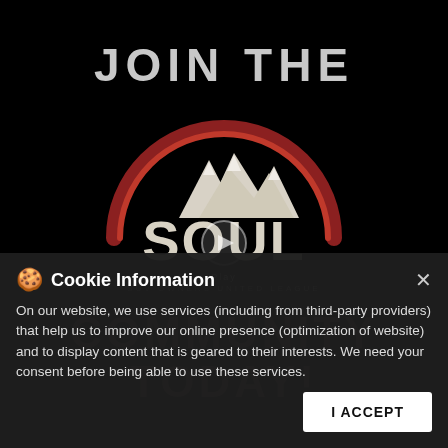JOIN THE
[Figure (logo): SOUL - SUV Owners United League circular logo with mountain silhouette and red arc, white distressed text]
Play
SUV OWNERS UNITED LEAGUE
COMMUNITY TODAY!
Cookie Information
On our website, we use services (including from third-party providers) that help us to improve our online presence (optimization of website) and to display content that is geared to their interests. We need your consent before being able to use these services.
I ACCEPT